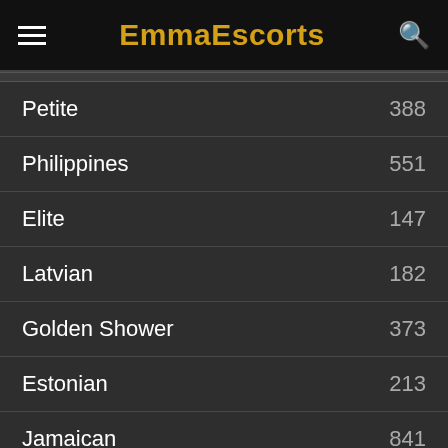EmmaEscorts
Petite 388
Philippines 551
Elite 147
Latvian 182
Golden Shower 373
Estonian 213
Jamaican 841
Body to Body 258